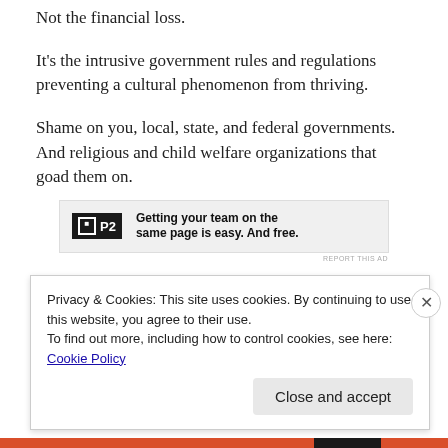Not the financial loss.
It's the intrusive government rules and regulations preventing a cultural phenomenon from thriving.
Shame on you, local, state, and federal governments. And religious and child welfare organizations that goad them on.
[Figure (other): Advertisement banner for P2 with logo and text: Getting your team on the same page is easy. And free.]
Privacy & Cookies: This site uses cookies. By continuing to use this website, you agree to their use.
To find out more, including how to control cookies, see here: Cookie Policy